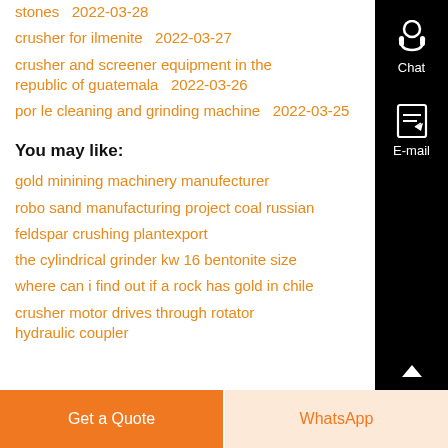stones  2022-03-28
crusher for ilmenite  2022-03-27
crusher and screener equipment in the republic of guatemala  2022-03-26
por le cleaning and grinding machine  2022-03-25
You may like:
gold minining machinery manufecturer
robo sand manufacturing project coal russian
feldspar crushing plantexport
the cylindrical grinder kw 16 bentonite size
where can i find out if a rock has gold in chile
crusher motor drives through rotator hydraulic coupler